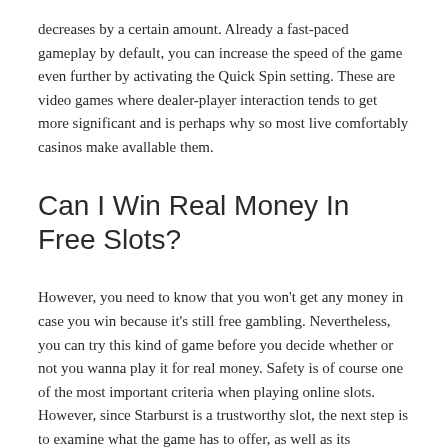decreases by a certain amount. Already a fast-paced gameplay by default, you can increase the speed of the game even further by activating the Quick Spin setting. These are video games where dealer-player interaction tends to get more significant and is perhaps why so most live comfortably casinos make avallable them.
Can I Win Real Money In Free Slots?
However, you need to know that you won't get any money in case you win because it's still free gambling. Nevertheless, you can try this kind of game before you decide whether or not you wanna play it for real money. Safety is of course one of the most important criteria when playing online slots. However, since Starburst is a trustworthy slot, the next step is to examine what the game has to offer, as well as its shortcomings, and then decide if it is the right game for you. It can be seen that the advantages far outweigh the disadvantages with Starburst. We have therefore summarized the main advantages and disadvantages of the Starburst game below.
At Wink Slots, you can get up to 30 free spins on card registration to have an exciting time playing the best selection of games. If you're looking for the biggest hits ever like Starburst, Book of Dead and Fire